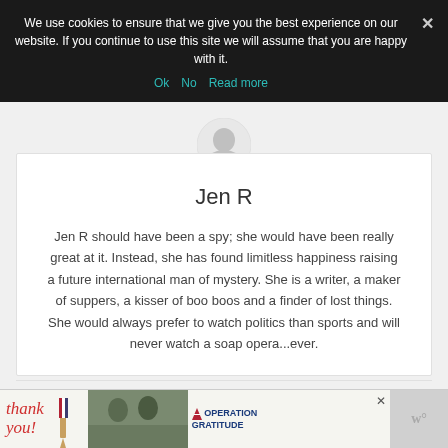We use cookies to ensure that we give you the best experience on our website. If you continue to use this site we will assume that you are happy with it.
Ok   No   Read more
Jen R
Jen R should have been a spy; she would have been really great at it. Instead, she has found limitless happiness raising a future international man of mystery. She is a writer, a maker of suppers, a kisser of boo boos and a finder of lost things. She would always prefer to watch politics than sports and will never watch a soap opera...ever.
View all posts
[Figure (illustration): Advertisement banner showing 'Thank you!' text with American flag pencil graphic, soldiers image, and Operation Gratitude logo]